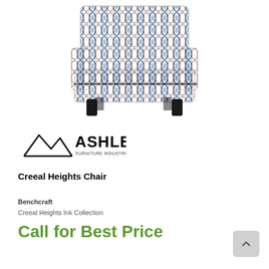[Figure (photo): An upholstered accent chair with geometric patterned fabric in blue, brown, and white tones, with dark wooden legs.]
[Figure (logo): Ashley Furniture Industries, LLC logo with mountain peak graphic and bold ASHLEY text]
Creeal Heights Chair
Benchcraft
Creeal Heights Ink Collection
Call for Best Price